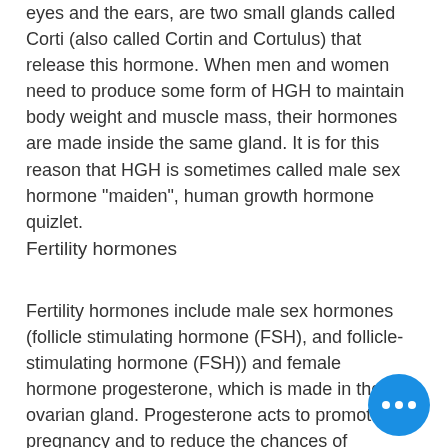eyes and the ears, are two small glands called Corti (also called Cortin and Cortulus) that release this hormone. When men and women need to produce some form of HGH to maintain body weight and muscle mass, their hormones are made inside the same gland. It is for this reason that HGH is sometimes called male sex hormone "maiden", human growth hormone quizlet.
Fertility hormones
Fertility hormones include male sex hormones (follicle stimulating hormone (FSH), and follicle-stimulating hormone (FSH)) and female hormone progesterone, which is made in the ovarian gland. Progesterone acts to promote pregnancy and to reduce the chances of miscarriage. The production of FSH can be increased by an ovary transplant or from an ovulation stimulated egg donor, human growth